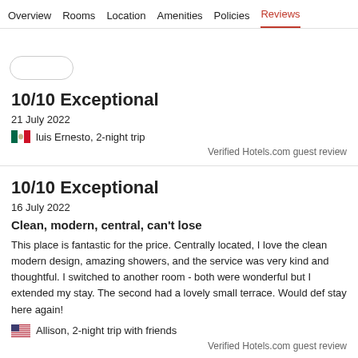Overview  Rooms  Location  Amenities  Policies  Reviews
10/10 Exceptional
21 July 2022
luis Ernesto, 2-night trip
Verified Hotels.com guest review
10/10 Exceptional
16 July 2022
Clean, modern, central, can't lose
This place is fantastic for the price. Centrally located, I love the clean modern design, amazing showers, and the service was very kind and thoughtful. I switched to another room - both were wonderful but I extended my stay. The second had a lovely small terrace. Would def stay here again!
Allison, 2-night trip with friends
Verified Hotels.com guest review